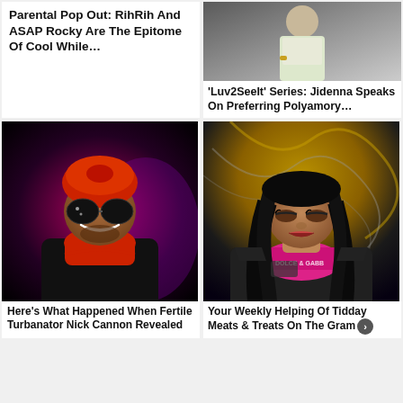Parental Pop Out: RihRih And ASAP Rocky Are The Epitome Of Cool While…
[Figure (photo): Photo of woman in white outfit]
'Luv2SeeIt' Series: Jidenna Speaks On Preferring Polyamory…
[Figure (photo): Photo of Nick Cannon wearing red turban and sunglasses, smiling]
Here's What Happened When Fertile Turbanator Nick Cannon Revealed
[Figure (photo): Photo of Cardi B in Dolce & Gabbana outfit]
Your Weekly Helping Of Tidday Meats & Treats On The Gram